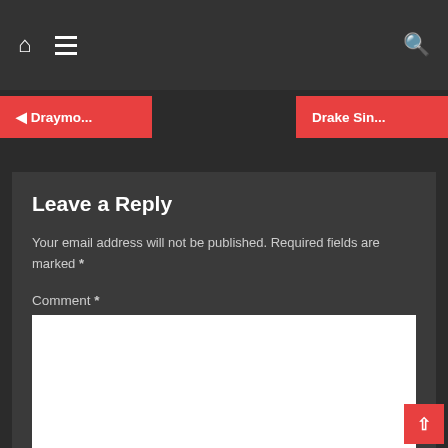Home | Menu | Search
◄ Draymo...
Drake Sin...
Leave a Reply
Your email address will not be published. Required fields are marked *
Comment *